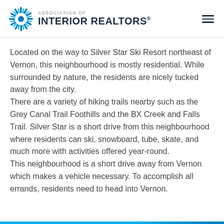ASSOCIATION OF INTERIOR REALTORS®
Located on the way to Silver Star Ski Resort northeast of Vernon, this neighbourhood is mostly residential. While surrounded by nature, the residents are nicely tucked away from the city.
There are a variety of hiking trails nearby such as the Grey Canal Trail Foothills and the BX Creek and Falls Trail. Silver Star is a short drive from this neighbourhood where residents can ski, snowboard, tube, skate, and much more with activities offered year-round.
This neighbourhood is a short drive away from Vernon which makes a vehicle necessary. To accomplish all errands, residents need to head into Vernon.